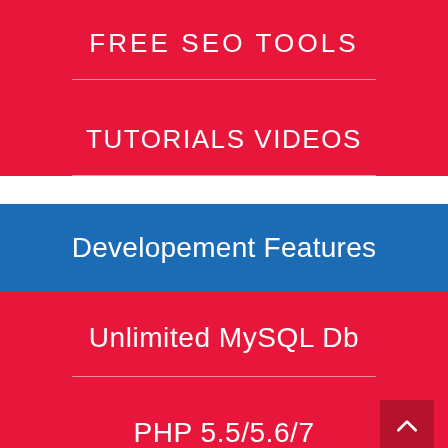FREE SEO TOOLS
TUTORIALS VIDEOS
Developement Features
Unlimited MySQL Db
PHP 5.5/5.6/7